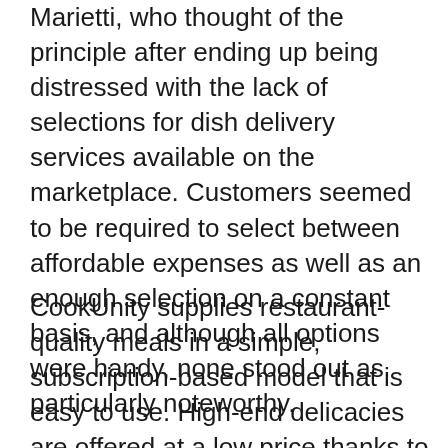Marietti, who thought of the principle after ending up being distressed with the lack of selections for dish delivery services available on the marketplace. Customers seemed to be required to select between affordable expenses as well as an enough selection on a constant basis, and although all options were handy, none stood out as particularly noteworthy.
CookUnity supplies restaurant-quality meals in a simple, subscription-based model that is easy to use. High-end delicacies are offered at a low price thanks to the solution, which connects professional cooks with day-to-day customers. CookUnity promotes itself as being a chef-driven facility, offering customized meals that vary once a week and